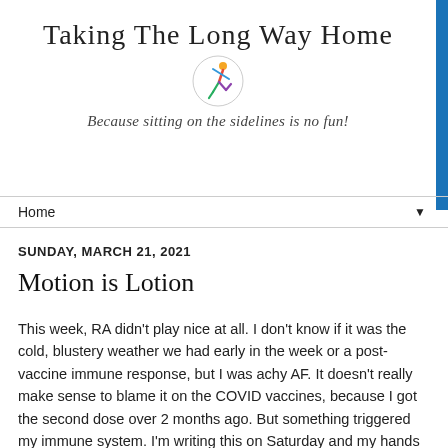Taking the Long Way Home
[Figure (illustration): Colorful cartoon runner figure in motion, with circle outline behind]
Because sitting on the sidelines is no fun!
Home ▼
SUNDAY, MARCH 21, 2021
Motion is Lotion
This week, RA didn't play nice at all. I don't know if it was the cold, blustery weather we had early in the week or a post-vaccine immune response, but I was achy AF. It doesn't really make sense to blame it on the COVID vaccines, because I got the second dose over 2 months ago. But something triggered my immune system. I'm writing this on Saturday and my hands are still swollen, inflamed, and achy. Joint pain woke me up in the middle of the